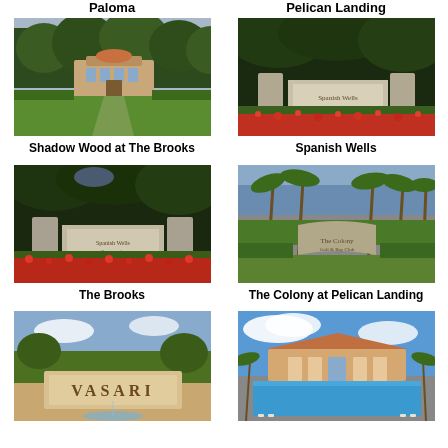Paloma
Pelican Landing
[Figure (photo): Aerial view of Shadow Wood at The Brooks clubhouse with green lawn and trees]
Shadow Wood at The Brooks
[Figure (photo): Spanish Wells community entrance sign with red flowering plants and large trees]
Spanish Wells
[Figure (photo): The Brooks community entrance sign with red flowering plants and dark trees]
The Brooks
[Figure (photo): The Colony at Pelican Landing entrance sign with palm trees and lush greenery]
The Colony at Pelican Landing
[Figure (photo): Vasari community entrance sign with decorative fountain]
[Figure (photo): Community pool area with blue water, palm trees and clubhouse building under blue sky]